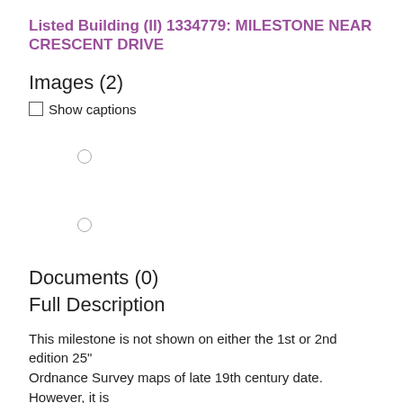Listed Building (II) 1334779: MILESTONE NEAR CRESCENT DRIVE
Images (2)
☐ Show captions
[Figure (photo): Image placeholder with radio button (image 1 of 2)]
[Figure (photo): Image placeholder with radio button (image 2 of 2)]
Documents (0)
Full Description
This milestone is not shown on either the 1st or 2nd edition 25" Ordnance Survey maps of late 19th century date. However, it is